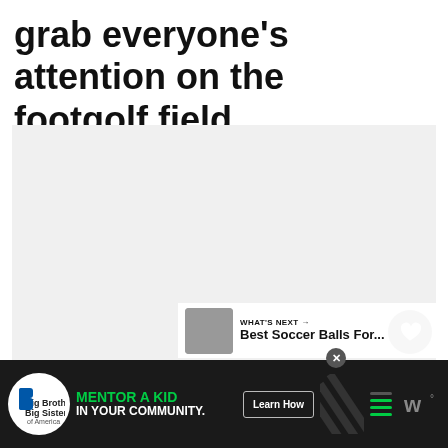grab everyone's attention on the footgolf field.
[Figure (photo): Large image area placeholder, light gray background, showing a footgolf or soccer-related photo with heart (favorite) and share buttons overlaid on the right side.]
WHAT'S NEXT → Best Soccer Balls For...
[Figure (screenshot): Advertisement bar at bottom: Big Brothers Big Sisters logo, 'MENTOR A KID IN YOUR COMMUNITY.' green and white text, 'Learn How' button, close X button, diagonal stripe graphic, and a music/app icon on the right.]